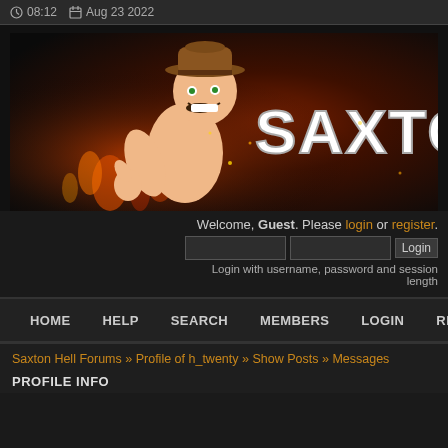08:12  Aug 23 2022
[Figure (illustration): Saxton Hell Forums banner: cartoon muscular man with cowboy hat giving thumbs up, fiery background, large white text 'SAXTON']
Welcome, Guest. Please login or register.
Login with username, password and session length
HOME   HELP   SEARCH   MEMBERS   LOGIN   REGISTER
Saxton Hell Forums » Profile of h_twenty » Show Posts » Messages
PROFILE INFO